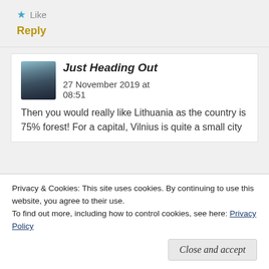Like
Reply
Just Heading Out   27 November 2019 at 08:51
Then you would really like Lithuania as the country is 75% forest! For a capital, Vilnius is quite a small city
Privacy & Cookies: This site uses cookies. By continuing to use this website, you agree to their use.
To find out more, including how to control cookies, see here: Privacy Policy
Close and accept